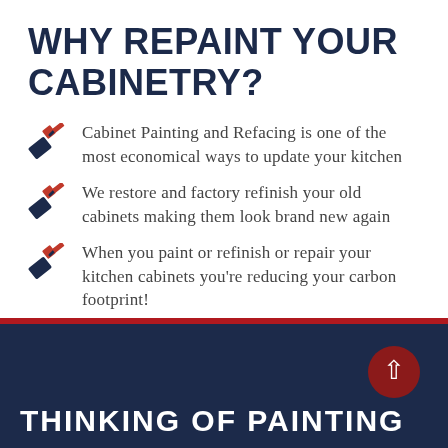WHY REPAINT YOUR CABINETRY?
Cabinet Painting and Refacing is one of the most economical ways to update your kitchen
We restore and factory refinish your old cabinets making them look brand new again
When you paint or refinish or repair your kitchen cabinets you're reducing your carbon footprint!
THINKING OF PAINTING